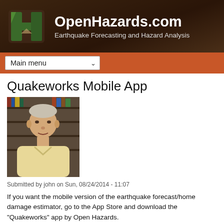OpenHazards.com — Earthquake Forecasting and Hazard Analysis
Quakeworks Mobile App
[Figure (photo): Headshot photo of a man, middle-aged, in front of shelving]
Submitted by john on Sun, 08/24/2014 - 11:07
If you want the mobile version of the earthquake forecast/home damage estimator, go to the App Store and download the "Quakeworks" app by Open Hazards.
See the likelihood of experiencing an earthquake in your area
[Figure (screenshot): Mobile app screenshot showing green status bar with AT&T signal, 8:03 PM, and 'Earthquake Forecaster' title on green background]